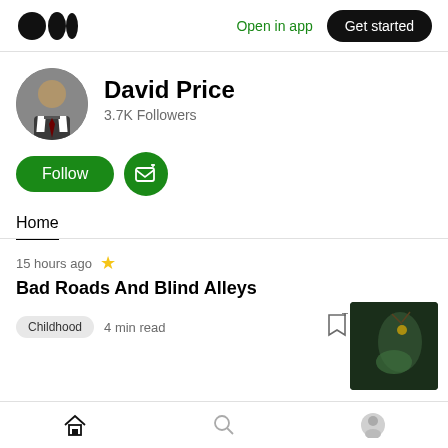[Figure (screenshot): Medium app top navigation bar with logo, 'Open in app' link, and 'Get started' button]
[Figure (photo): David Price profile avatar - man in suit and tie]
David Price
3.7K Followers
[Figure (other): Follow and Subscribe buttons in green]
Home
15 hours ago
Bad Roads And Blind Alleys
Childhood  4 min read
[Figure (photo): Article thumbnail - dark nature image with insect on plant]
Home  Search  Profile navigation icons